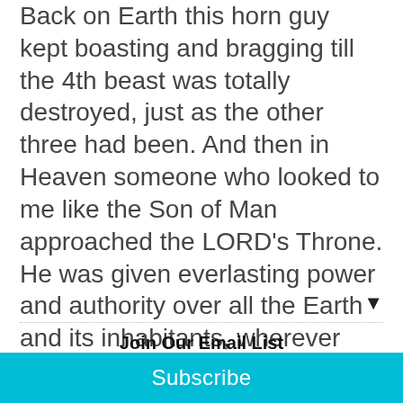Back on Earth this horn guy kept boasting and bragging till the 4th beast was totally destroyed, just as the other three had been. And then in Heaven someone who looked to me like the Son of Man approached the LORD's Throne. He was given everlasting power and authority over all the Earth and its inhabitants, wherever they lived, and everyone
Join Our Email List
Your email address
Subscribe